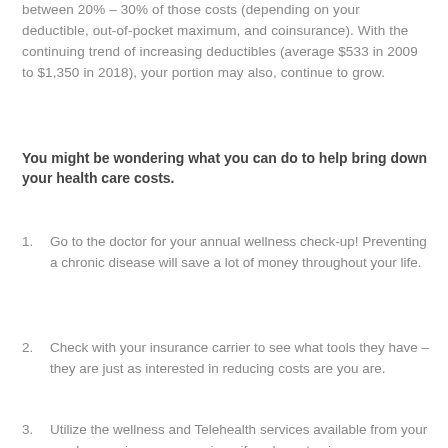between 20% – 30% of those costs (depending on your deductible, out-of-pocket maximum, and coinsurance). With the continuing trend of increasing deductibles (average $533 in 2009 to $1,350 in 2018), your portion may also, continue to grow.
You might be wondering what you can do to help bring down your health care costs.
1. Go to the doctor for your annual wellness check-up! Preventing a chronic disease will save a lot of money throughout your life.
2. Check with your insurance carrier to see what tools they have – they are just as interested in reducing costs are you are.
3. Utilize the wellness and Telehealth services available from your employer or insurance carrier – if you're not using